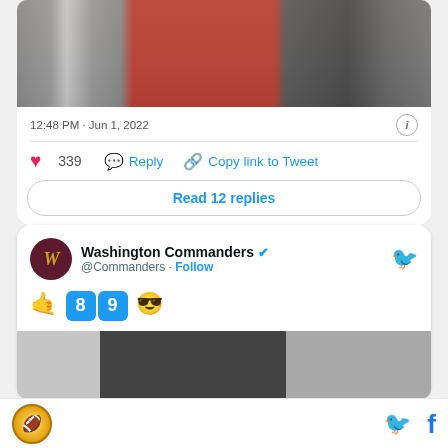[Figure (screenshot): Partial photo strip showing people outdoors, one wearing red shirt, another holding a football helmet]
12:48 PM · Jun 1, 2022
❤ 339   💬 Reply   🔗 Copy link to Tweet
Read 12 replies
Washington Commanders @Commanders · Follow
🤙 8 9 😎
[Figure (photo): Partial photo of a person, cropped at bottom edge of card]